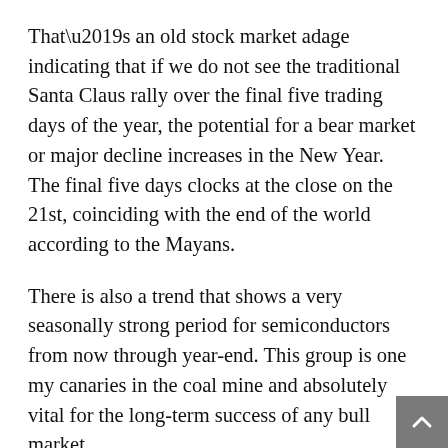That’s an old stock market adage indicating that if we do not see the traditional Santa Claus rally over the final five trading days of the year, the potential for a bear market or major decline increases in the New Year. The final five days clocks at the close on the 21st, coinciding with the end of the world according to the Mayans.
There is also a trend that shows a very seasonally strong period for semiconductors from now through year-end. This group is one my canaries in the coal mine and absolutely vital for the long-term success of any bull market.
Besides the most overhyped event since Y2K, the “dreaded” Fiscal Cliff, news flow should really taper off until January 2 or 3, which is one of the